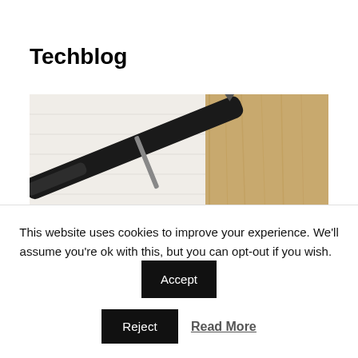Techblog
[Figure (photo): A black pen resting on a white paper/notebook next to a wooden surface]
Signed macOS programs with Java 14
This website uses cookies to improve your experience. We'll assume you're ok with this, but you can opt-out if you wish. Accept Reject Read More